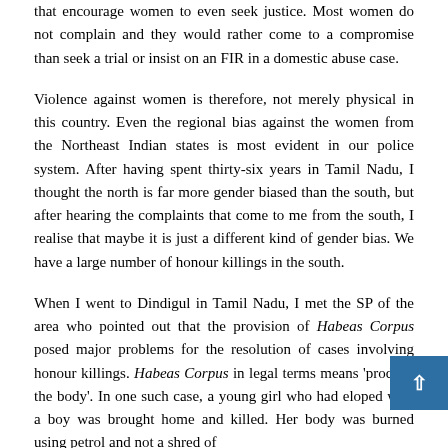that encourage women to even seek justice. Most women do not complain and they would rather come to a compromise than seek a trial or insist on an FIR in a domestic abuse case.
Violence against women is therefore, not merely physical in this country. Even the regional bias against the women from the Northeast Indian states is most evident in our police system. After having spent thirty-six years in Tamil Nadu, I thought the north is far more gender biased than the south, but after hearing the complaints that come to me from the south, I realise that maybe it is just a different kind of gender bias. We have a large number of honour killings in the south.
When I went to Dindigul in Tamil Nadu, I met the SP of the area who pointed out that the provision of Habeas Corpus posed major problems for the resolution of cases involving honour killings. Habeas Corpus in legal terms means 'produce the body'. In one such case, a young girl who had eloped with a boy was brought home and killed. Her body was burned using petrol and not a shred of